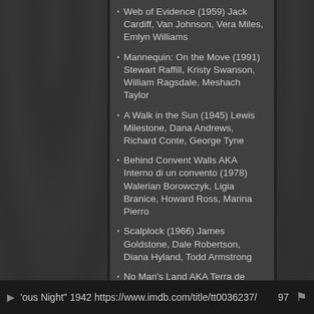Web of Evidence (1959) Jack Cardiff, Van Johnson, Vera Miles, Emlyn Williams
Mannequin: On the Move (1991) Stewart Raffill, Kristy Swanson, William Ragsdale, Meshach Taylor
A Walk in the Sun (1945) Lewis Milestone, Dana Andrews, Richard Conte, George Tyne
Behind Convent Walls AKA Interno di un convento (1978) Walerian Borowczyk, Ligia Branice, Howard Ross, Marina Pierro
Scalplock (1966) James Goldstone, Dale Robertson, Diana Hyland, Todd Armstrong
No Man's Land AKA Terra de ninguém (2012) Salomé Lamas, Paulo de Figueiredo
The Room Next Door AKA La stanza accanto (1994) Fabrizio Laurenti, Mark Benninghoffen, Thomas Patrick, Mary Sellers
▶ 'ous Night" 1942 https://www.imdb.com/title/tt0036237/   97